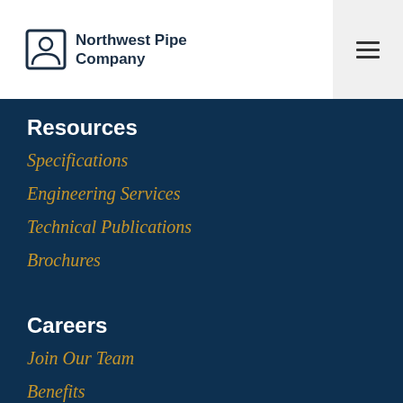[Figure (logo): Northwest Pipe Company logo with person icon in a square border]
Resources
Specifications
Engineering Services
Technical Publications
Brochures
Careers
Join Our Team
Benefits
Únete A Nuestro Equipo
Inclusion